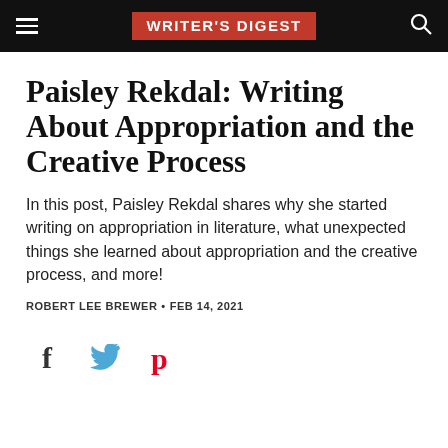WRITER'S DIGEST
Paisley Rekdal: Writing About Appropriation and the Creative Process
In this post, Paisley Rekdal shares why she started writing on appropriation in literature, what unexpected things she learned about appropriation and the creative process, and more!
ROBERT LEE BREWER • FEB 14, 2021
[Figure (other): Social media share icons: Facebook (f), Twitter (bird), Pinterest (p)]